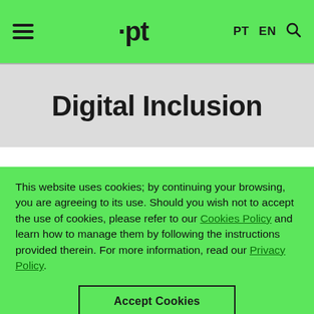.pt — PT EN [search]
Digital Inclusion
This website uses cookies; by continuing your browsing, you are agreeing to its use. Should you wish not to accept the use of cookies, please refer to our Cookies Policy and learn how to manage them by following the instructions provided therein. For more information, read our Privacy Policy.
Accept Cookies